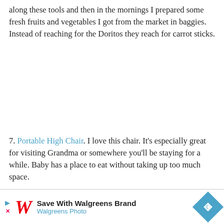along these tools and then in the mornings I prepared some fresh fruits and vegetables I got from the market in baggies. Instead of reaching for the Doritos they reach for carrot sticks.
7. Portable High Chair. I love this chair. It's especially great for visiting Grandma or somewhere you'll be staying for a while. Baby has a place to eat without taking up too much space.
8. Bottle... ...nsoap in a little... ...re it
[Figure (other): Walgreens advertisement banner: Save With Walgreens Brand, Walgreens Photo, with Walgreens logo and navigation arrow icon]